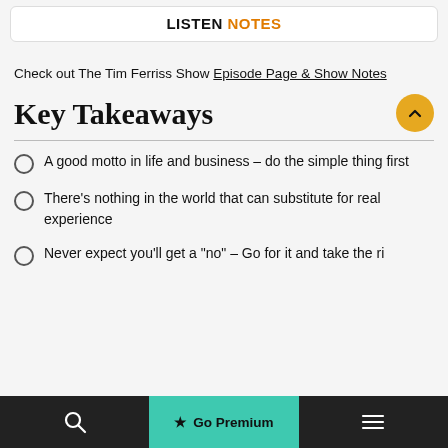LISTEN NOTES
Check out The Tim Ferriss Show Episode Page & Show Notes
Key Takeaways
A good motto in life and business – do the simple thing first
There's nothing in the world that can substitute for real experience
Never expect you'll get a "no" – Go for it and take the ri…
🔍  ★ Go Premium  ☰